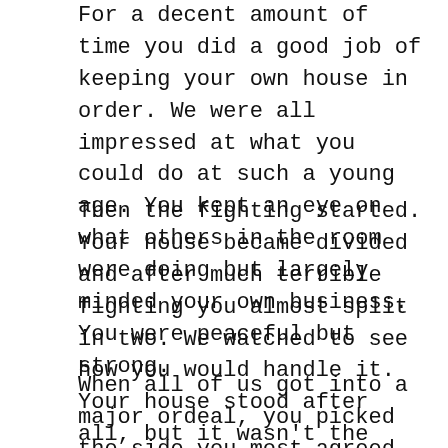For a decent amount of time you did a good job of keeping your own house in order. We were all impressed at what you could do at such a young age. You kept an eye on what others in the room were doing but largely minded your own business. You were peaceful but strong.
Then the fighting started. Your house became divided and after much terrible fighting you almost split in two. We watched to see how you would handle it. Your house stood after all, but it wasn't the same. Bitterness and divisiveness prevailed.
When all of us got into a major ordeal, you picked the side you most agreed with and got involved. Your resources were a major part in ending a major dispute. It ended badly. Unable to reconcile, we got into